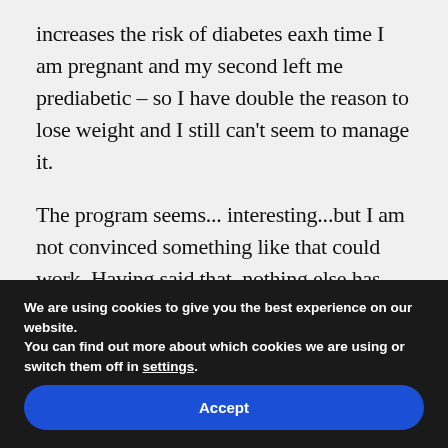increases the risk of diabetes eaxh time I am pregnant and my second left me prediabetic – so I have double the reason to lose weight and I still can't seem to manage it.
The program seems... interesting...but I am not convinced something like that could work. Having said that, nothing else has worked so why not try this?! I will be really
We are using cookies to give you the best experience on our website.
You can find out more about which cookies we are using or switch them off in settings.
Accept